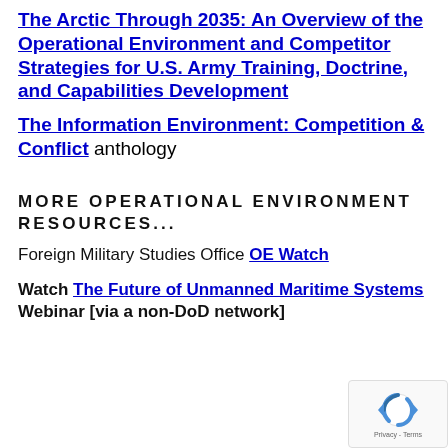The Arctic Through 2035: An Overview of the Operational Environment and Competitor Strategies for U.S. Army Training, Doctrine, and Capabilities Development
The Information Environment: Competition & Conflict anthology
MORE OPERATIONAL ENVIRONMENT RESOURCES...
Foreign Military Studies Office OE Watch
Watch The Future of Unmanned Maritime Systems Webinar [via a non-DoD network]